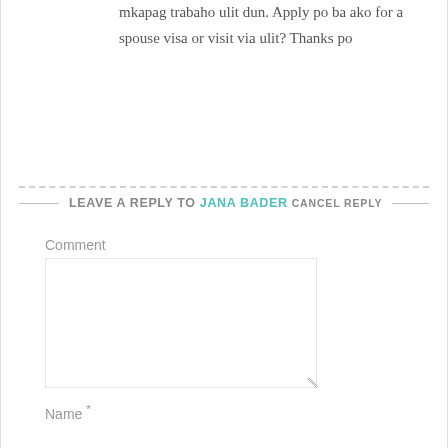mkapag trabaho ulit dun. Apply po ba ako for a spouse visa or visit via ulit? Thanks po
Reply
LEAVE A REPLY TO JANA BADER CANCEL REPLY
Comment
Name *